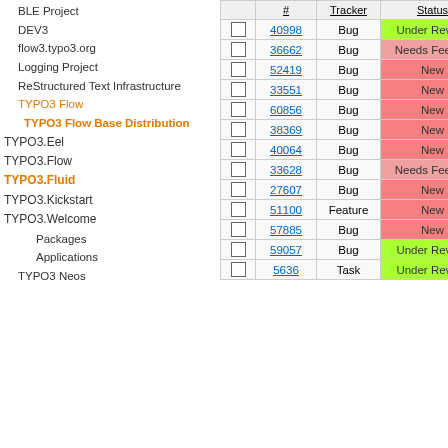BLE Project
DEV3
flow3.typo3.org
Logging Project
ReStructured Text Infrastructure
TYPO3 Flow
TYPO3 Flow Base Distribution
TYPO3.Eel
TYPO3.Flow
TYPO3.Fluid
TYPO3.Kickstart
TYPO3.Welcome
Packages
Applications
TYPO3 Neos
|  | # | Tracker | Status |
| --- | --- | --- | --- |
|  | 40998 | Bug | Under Review |
|  | 36662 | Bug | Needs Feedback |
|  | 52419 | Bug | New |
|  | 33551 | Bug | New |
|  | 60856 | Bug | New |
|  | 38369 | Bug | New |
|  | 40064 | Bug | New |
|  | 33628 | Bug | Needs Feedback |
|  | 27607 | Bug | New |
|  | 51100 | Feature | New |
|  | 57885 | Bug | New |
|  | 59057 | Bug | Under Review |
|  | 5636 | Task | Under Review |